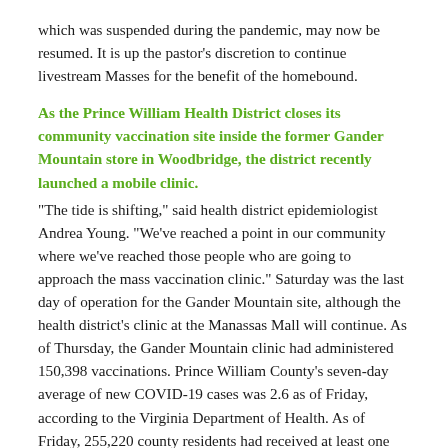which was suspended during the pandemic, may now be resumed. It is up the pastor's discretion to continue livestream Masses for the benefit of the homebound.
As the Prince William Health District closes its community vaccination site inside the former Gander Mountain store in Woodbridge, the district recently launched a mobile clinic.
“The tide is shifting,” said health district epidemiologist Andrea Young. “We’ve reached a point in our community where we’ve reached those people who are going to approach the mass vaccination clinic.” Saturday was the last day of operation for the Gander Mountain site, although the health district’s clinic at the Manassas Mall will continue. As of Thursday, the Gander Mountain clinic had administered 150,398 vaccinations. Prince William County’s seven-day average of new COVID-19 cases was 2.6 as of Friday, according to the Virginia Department of Health. As of Friday, 255,220 county residents had received at least one dose of the vaccine and 220,562 were fully vaccinated. Of the county’s population, 46.9% of all residents and 59.4% of all adults are fully vaccinated. Brian Misner, the county’s emergency management coordinator, told the county supervisors on Tuesday that the Gander Mountain facility was down to about